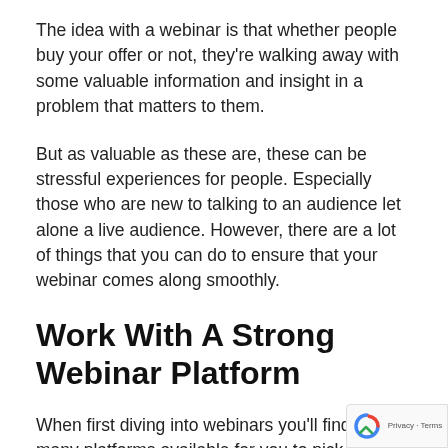The idea with a webinar is that whether people buy your offer or not, they're walking away with some valuable information and insight in a problem that matters to them.
But as valuable as these are, these can be stressful experiences for people. Especially those who are new to talking to an audience let alone a live audience. However, there are a lot of things that you can do to ensure that your webinar comes along smoothly.
Work With A Strong Webinar Platform
When first diving into webinars you'll find there many platforms available for you to pick from and